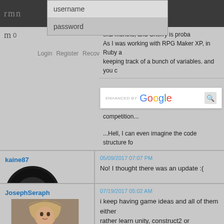rmn
[Figure (screenshot): Login dropdown with username and password fields]
Login   Register   Recov…
[Figure (screenshot): ENHANCED BY Google search bar with search icon]
…eral months, and Cherry is proba… As I was working with RPG Maker XP, in Ruby a… keeping track of a bunch of variables. and you c… competition…
...Hell, I can even imagine the code structure fo…
kaine87
05/09/2017 07:07 PM
No! I thought there was an update :(
[Figure (illustration): Avatar of kaine87: superhero/villain character with red eyes in circular frame]
m 0
JosephSeraph
07/19/2017 05:02 AM
i keep having game ideas and all of them either… rather learn unity, construct2 or something)

but welp, one day it'll come! and 2k3 shall beco…
[Figure (illustration): Avatar of JosephSeraph: anime-style female character with long hair]